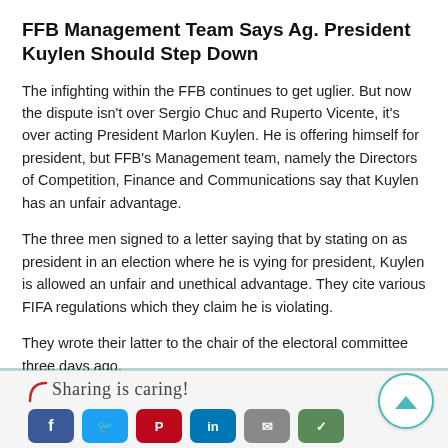FFB Management Team Says Ag. President Kuylen Should Step Down
The infighting within the FFB continues to get uglier. But now the dispute isn't over Sergio Chuc and Ruperto Vicente, it's over acting President Marlon Kuylen. He is offering himself for president, but FFB's Management team, namely the Directors of Competition, Finance and Communications say that Kuylen has an unfair advantage.
The three men signed to a letter saying that by stating on as president in an election where he is vying for president, Kuylen is allowed an unfair and unethical advantage. They cite various FIFA regulations which they claim he is violating.
They wrote their latter to the chair of the electoral committee three days ago.
Channel 7
Sharing is caring!